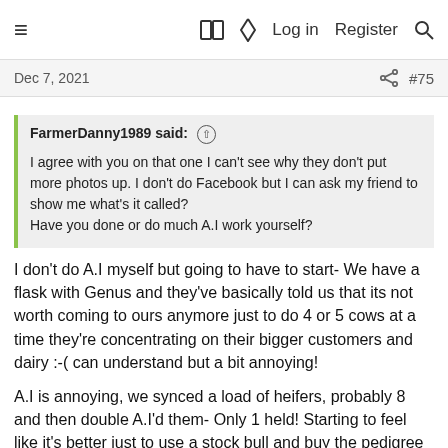≡  □  ⚡  Log in  Register  🔍
Dec 7, 2021  #75
FarmerDanny1989 said: ↑

I agree with you on that one I can't see why they don't put more photos up. I don't do Facebook but I can ask my friend to show me what's it called?
Have you done or do much A.I work yourself?
I don't do A.I myself but going to have to start- We have a flask with Genus and they've basically told us that its not worth coming to ours anymore just to do 4 or 5 cows at a time they're concentrating on their bigger customers and dairy :-( can understand but a bit annoying!
A.I is annoying, we synced a load of heifers, probably 8 and then double A.I'd them- Only 1 held! Starting to feel like it's better just to use a stock bull and buy the pedigree in. Just need to weigh it all up.